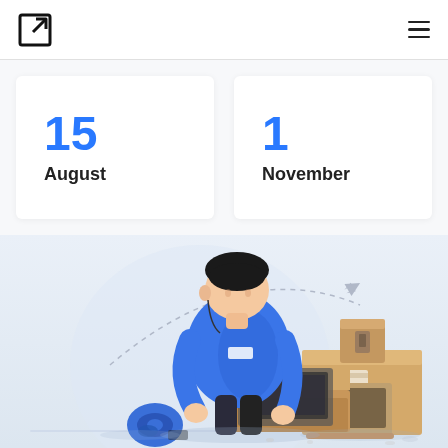[Logo icon] [Hamburger menu]
15
August
1
November
[Figure (illustration): Flat style illustration of a worker in a blue shirt packing boxes. A cardboard box is open in front of him and he is placing a laptop inside. Additional boxes and a tape dispenser are nearby. A dashed arc line indicates a shipping route with a small airplane icon. Background has a soft blue-white gradient circle shape.]